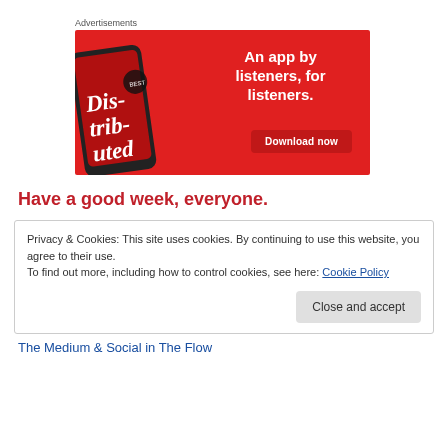Advertisements
[Figure (illustration): Advertisement banner for a podcast app. Red background with a smartphone showing 'Distributed' podcast cover. Text reads 'An app by listeners, for listeners.' with a 'Download now' button.]
Have a good week, everyone.
Privacy & Cookies: This site uses cookies. By continuing to use this website, you agree to their use.
To find out more, including how to control cookies, see here: Cookie Policy
Close and accept